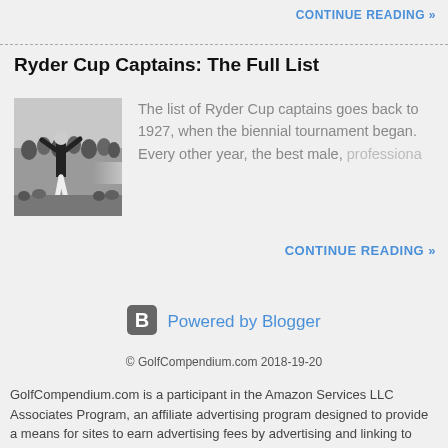CONTINUE READING »
Ryder Cup Captains: The Full List
[Figure (photo): Black and white photo of a golfer raising their arms in celebration with crowd in background]
The list of Ryder Cup captains goes back to 1927, when the biennial tournament began. Every other year, the best male, professiona...
CONTINUE READING »
[Figure (logo): Blogger B logo icon]
Powered by Blogger
© GolfCompendium.com 2018-19-20
GolfCompendium.com is a participant in the Amazon Services LLC Associates Program, an affiliate advertising program designed to provide a means for sites to earn advertising fees by advertising and linking to Amazon.com.